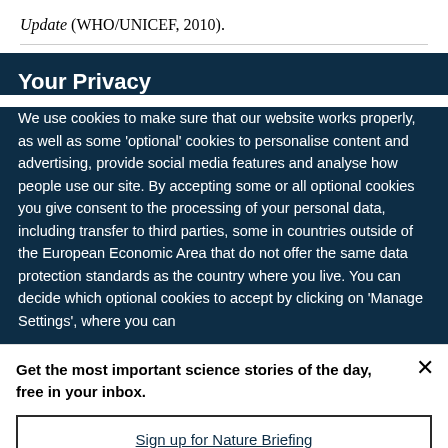Update (WHO/UNICEF, 2010).
Your Privacy
We use cookies to make sure that our website works properly, as well as some ‘optional’ cookies to personalise content and advertising, provide social media features and analyse how people use our site. By accepting some or all optional cookies you give consent to the processing of your personal data, including transfer to third parties, some in countries outside of the European Economic Area that do not offer the same data protection standards as the country where you live. You can decide which optional cookies to accept by clicking on ‘Manage Settings’, where you can
Get the most important science stories of the day, free in your inbox.
Sign up for Nature Briefing